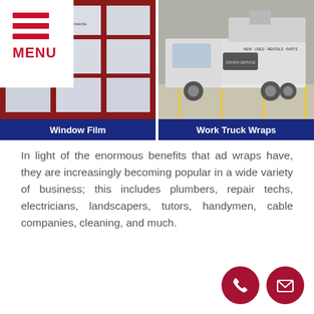[Figure (photo): Two side-by-side photos: left shows a building with window film applied showing logos including 'transys financial' and 'consecta'; right shows a white work truck with wraps/branding in a parking lot]
Window Film
Work Truck Wraps
In light of the enormous benefits that ad wraps have, they are increasingly becoming popular in a wide variety of business; this includes plumbers, repair techs, electricians, landscapers, tutors, handymen, cable companies, cleaning, and much.
[Figure (illustration): Two dark red circular contact buttons: phone icon and email/envelope icon]